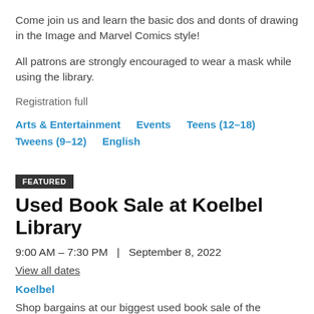Come join us and learn the basic dos and donts of drawing in the Image and Marvel Comics style!
All patrons are strongly encouraged to wear a mask while using the library.
Registration full
Arts & Entertainment   Events   Teens (12–18)
Tweens (9–12)   English
FEATURED
Used Book Sale at Koelbel Library
9:00 AM – 7:30 PM  |  September 8, 2022
View all dates
Koelbel
Shop bargains at our biggest used book sale of the